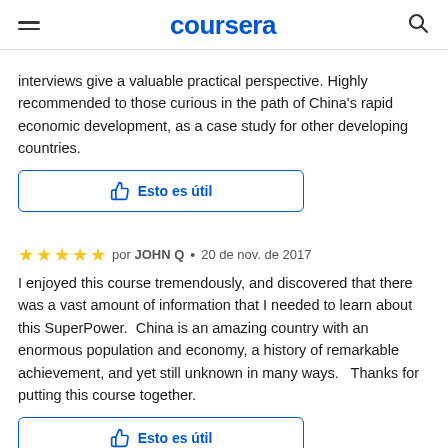coursera
interviews give a valuable practical perspective. Highly recommended to those curious in the path of China's rapid economic development, as a case study for other developing countries.
Esto es útil
por JOHN Q • 20 de nov. de 2017
I enjoyed this course tremendously, and discovered that there was a vast amount of information that I needed to learn about this SuperPower.  China is an amazing country with an enormous population and economy, a history of remarkable achievement, and yet still unknown in many ways.   Thanks for putting this course together.
Esto es útil